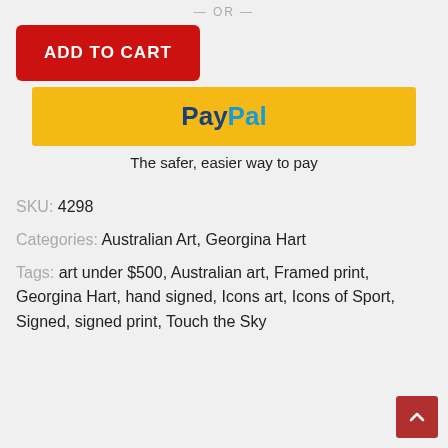— OR —
ADD TO CART
[Figure (logo): PayPal logo on yellow button bar]
The safer, easier way to pay
SKU: 4298
Categories: Australian Art, Georgina Hart
Tags: art under $500, Australian art, Framed print, Georgina Hart, hand signed, Icons art, Icons of Sport, Signed, signed print, Touch the Sky